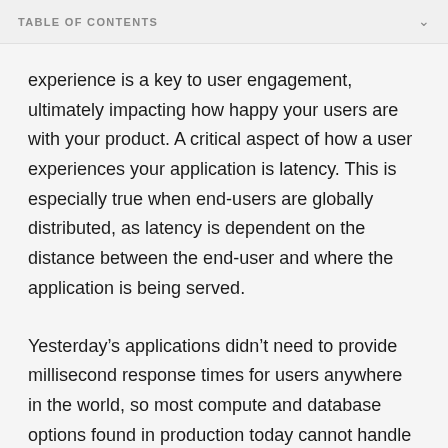TABLE OF CONTENTS
experience is a key to user engagement, ultimately impacting how happy your users are with your product. A critical aspect of how a user experiences your application is latency. This is especially true when end-users are globally distributed, as latency is dependent on the distance between the end-user and where the application is being served.
Yesterday's applications didn't need to provide millisecond response times for users anywhere in the world, so most compute and database options found in production today cannot handle the use case. But with edge computing, there may finally be an easy way to move applications closer to the end-user, if only